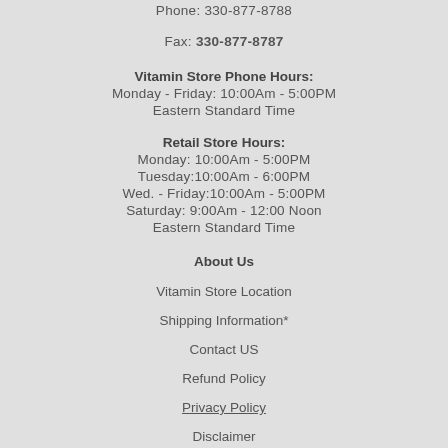Phone: 330-877-8788
Fax: 330-877-8787
Vitamin Store Phone Hours:
Monday - Friday: 10:00Am - 5:00PM
Eastern Standard Time
Retail Store Hours:
Monday: 10:00Am - 5:00PM
Tuesday:10:00Am - 6:00PM
Wed. - Friday:10:00Am - 5:00PM
Saturday: 9:00Am - 12:00 Noon
Eastern Standard Time
About Us
Vitamin Store Location
Shipping Information*
Contact US
Refund Policy
Privacy Policy
Disclaimer